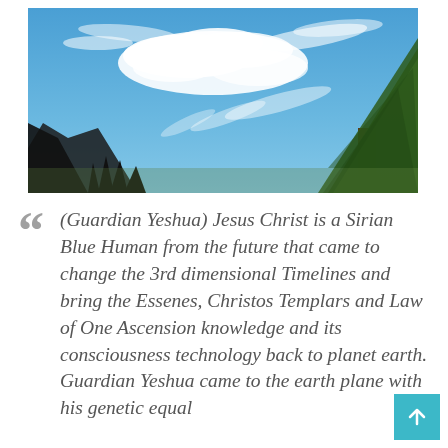[Figure (photo): Outdoor photograph looking upward at a bright blue sky with wispy white clouds. On the right side is a large green conifer/pine tree. On the lower left are dark silhouetted mountain/rock formations and treeline.]
(Guardian Yeshua) Jesus Christ is a Sirian Blue Human from the future that came to change the 3rd dimensional Timelines and bring the Essenes, Christos Templars and Law of One Ascension knowledge and its consciousness technology back to planet earth. Guardian Yeshua came to the earth plane with his genetic equal